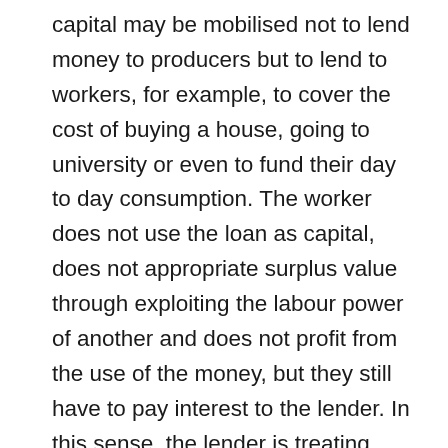capital may be mobilised not to lend money to producers but to lend to workers, for example, to cover the cost of buying a house, going to university or even to fund their day to day consumption. The worker does not use the loan as capital, does not appropriate surplus value through exploiting the labour power of another and does not profit from the use of the money, but they still have to pay interest to the lender. In this sense, the lender is treating their loaned money as capital—they expect a return on it, regardless of how it is used. This opens up the possibility of potentially predatory relations in which financial institutions derive profits from obtaining some of the income of workers and others. On top of this, banks can derive a profit from fees they charge for all sorts of other financial services.11